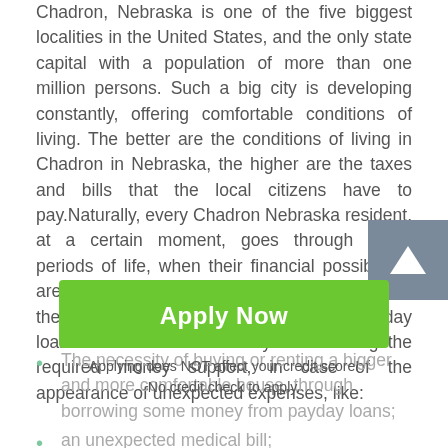Chadron, Nebraska is one of the five biggest localities in the United States, and the only state capital with a population of more than one million persons. Such a big city is developing constantly, offering comfortable conditions of living. The better are the conditions of living in Chadron in Nebraska, the higher are the taxes and bills that the local citizens have to pay.Naturally, every Chadron Nebraska resident, at a certain moment, goes through tough periods of life, when their financial possibilities are strictly limited. A great and rapid helper in these problems solving process are the payday loans. It is an excellent way of achieving the required money support, in case of the appearance of unexpected expenses, like:
The necessity of buying or renting a bigger and more comfortable house, through borrowing some money from payday loans;
an unexpected medical bill;
The need of buying a new car to move around Chadron
[Figure (other): Green Apply Now button overlay with text: Applying does NOT affect your credit score! No credit check to apply.]